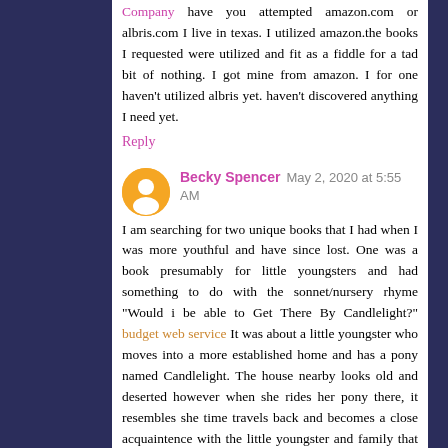Company have you attempted amazon.com or albris.com I live in texas. I utilized amazon.the books I requested were utilized and fit as a fiddle for a tad bit of nothing. I got mine from amazon. I for one haven't utilized albris yet. haven't discovered anything I need yet.
Reply
Becky Spencer May 2, 2020 at 5:55 AM
I am searching for two unique books that I had when I was more youthful and have since lost. One was a book presumably for little youngsters and had something to do with the sonnet/nursery rhyme "Would i be able to Get There By Candlelight?" budget web service It was about a little youngster who moves into a more established home and has a pony named Candlelight. The house nearby looks old and deserted however when she rides her pony there, it resembles she time travels back and becomes a close acquaintence with the little youngster and family that lives there.